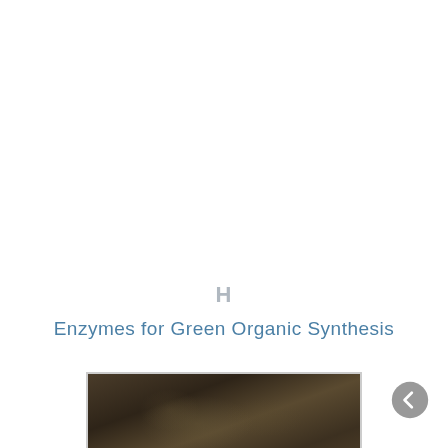H
Enzymes for Green Organic Synthesis
[Figure (photo): A dark, muted photograph of a person or figure, partially visible at the bottom of the page, with a brownish-grey tonal palette.]